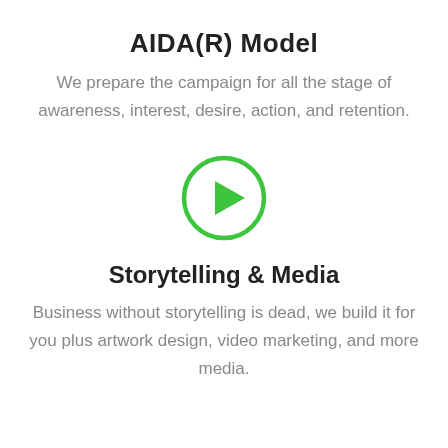AIDA(R) Model
We prepare the campaign for all the stage of awareness, interest, desire, action, and retention.
[Figure (illustration): Green circle play button icon with a right-pointing triangle inside]
Storytelling & Media
Business without storytelling is dead, we build it for you plus artwork design, video marketing, and more media.